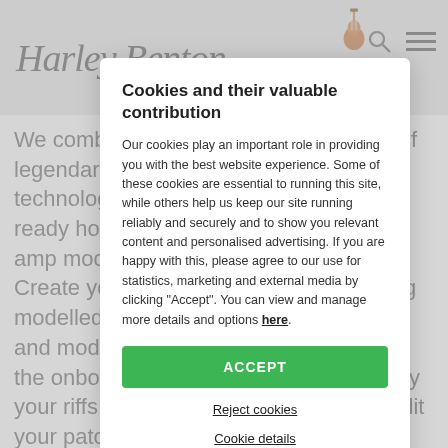HarleyBenton [logo with guitar illustration]
We combine the warm, dynamic sound of legendary tube valves to the latest technology to create a portable, road-ready housing: that's our ... Git advanced amp modelling multi-effect processor. Create your perfect guitar tones selecting modelled gear from a plethora of classic and modern amps, cabs and ... dive into the onboard drum machine to accompany your riffs, connect to your computer to edit your patches or record your playing... DNAfx is a great-sounding, super-portable guitar rig for gigs, practice or song-writing sessions featuring two quality footswitches and a built-in expression pedal for
Cookies and their valuable contribution
Our cookies play an important role in providing you with the best website experience. Some of these cookies are essential to running this site, while others help us keep our site running reliably and securely and to show you relevant content and personalised advertising. If you are happy with this, please agree to our use for statistics, marketing and external media by clicking "Accept". You can view and manage more details and options here.
ACCEPT
Reject cookies
Cookie details